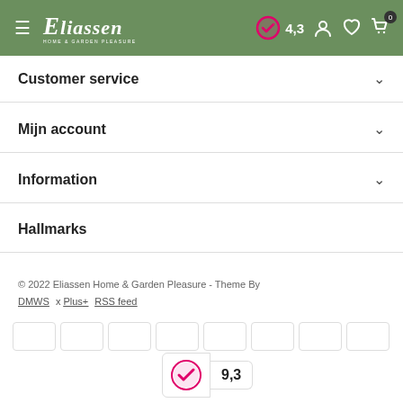Eliassen Home & Garden Pleasure — rating 4,3 — navigation header
Customer service
Mijn account
Information
Hallmarks
© 2022 Eliassen Home & Garden Pleasure - Theme By DMWS x Plus+ RSS feed
[Figure (other): Row of payment method icon placeholders (8 empty boxes)]
[Figure (logo): Kiyoh rating badge showing score 9,3 with pink checkmark icon]